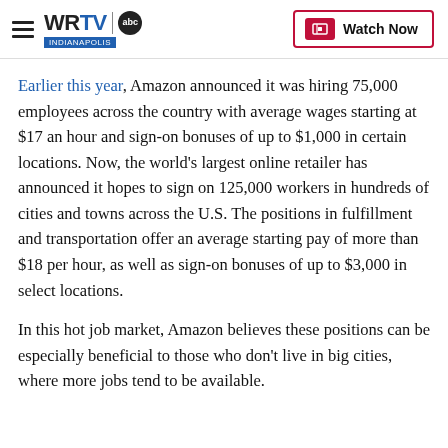WRTV Indianapolis | Watch Now
Earlier this year, Amazon announced it was hiring 75,000 employees across the country with average wages starting at $17 an hour and sign-on bonuses of up to $1,000 in certain locations. Now, the world's largest online retailer has announced it hopes to sign on 125,000 workers in hundreds of cities and towns across the U.S. The positions in fulfillment and transportation offer an average starting pay of more than $18 per hour, as well as sign-on bonuses of up to $3,000 in select locations.
In this hot job market, Amazon believes these positions can be especially beneficial to those who don't live in big cities, where more jobs tend to be available.